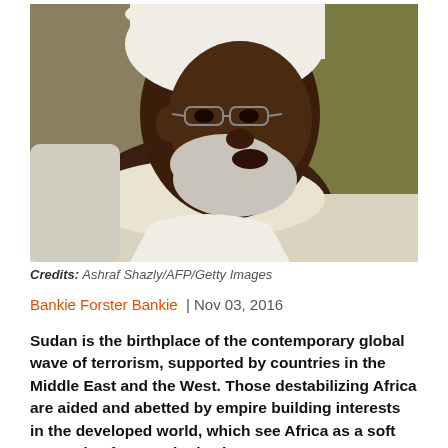[Figure (photo): Close-up photo of an elderly man wearing a white turban and white clothing with a grey beard, looking to the right and speaking. Background shows an olive-green color.]
Credits: Ashraf Shazly/AFP/Getty Images
Bankie Forster Bankie  | Nov 03, 2016
Sudan is the birthplace of the contemporary global wave of terrorism, supported by countries in the Middle East and the West. Those destabilizing Africa are aided and abetted by empire building interests in the developed world, which see Africa as a soft target ripe for re-colonization.